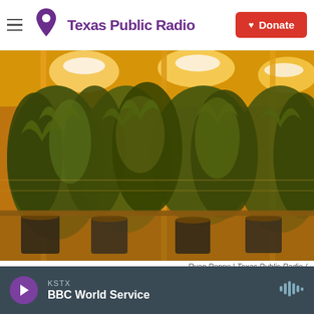Texas Public Radio | Donate
[Figure (photo): Indoor cannabis grow room with rows of marijuana plants under bright yellow/orange high-pressure sodium grow lights, plants in black pots on shelving with yellow support poles]
Ryan Poppe | Texas Public Radio /
KSTX BBC World Service